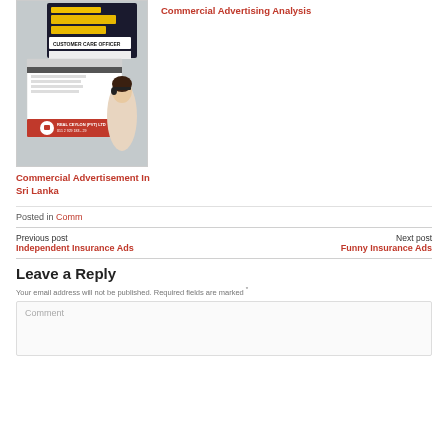[Figure (photo): Commercial advertisement flyers from Sri Lanka showing Sinhala text, a 'Customer Care Officer' job ad, and a woman in a red and black poster for REAL CEYLON (PVT) LTD]
Commercial Advertisement In Sri Lanka
Commercial Advertising Analysis
Posted in Comm
Previous post
Independent Insurance Ads
Next post
Funny Insurance Ads
Leave a Reply
Your email address will not be published. Required fields are marked *
Comment